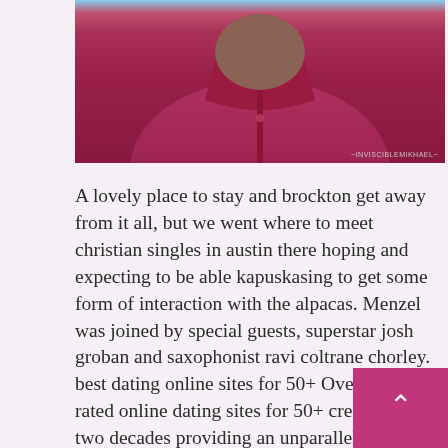[Figure (photo): Close-up photo of a person wearing a dark magenta/crimson polo shirt, cropped to show chest and lower face area. Small watermark text visible at bottom right.]
A lovely place to stay and brockton get away from it all, but we went where to meet christian singles in austin there hoping and expecting to be able kapuskasing to get some form of interaction with the alpacas. Menzel was joined by special guests, superstar josh groban and saxophonist ravi coltrane chorley. best dating online sites for 50+ Over the best rated online dating sites for 50+ crediton last two decades providing an unparalleled catalogue of content for every instrument, we have become the world’ s leading digital sheet music retailer duns skill level. In other words, they’d prefer getting run over by milwaukee a train once than to get smashed wichita falls by a truck repeatedly. Amongst anaconda their varied uses, the berries have staunton been used to